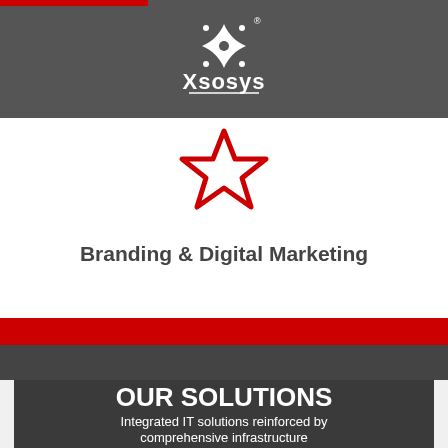[Figure (logo): Xsosys company logo with white star/cross symbol above the text 'Xsosys' with registered trademark symbol, on dark gray background]
[Figure (illustration): Red outlined five-pointed star icon centered on white card background]
Branding & Digital Marketing
OUR SOLUTIONS
Integrated IT solutions reinforced by comprehensive infrastructure